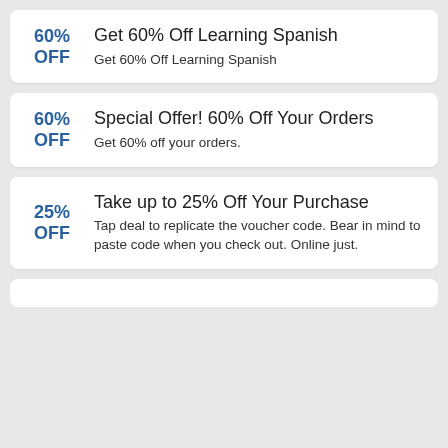60% OFF | Get 60% Off Learning Spanish | Get 60% Off Learning Spanish
60% OFF | Special Offer! 60% Off Your Orders | Get 60% off your orders.
25% OFF | Take up to 25% Off Your Purchase | Tap deal to replicate the voucher code. Bear in mind to paste code when you check out. Online just.